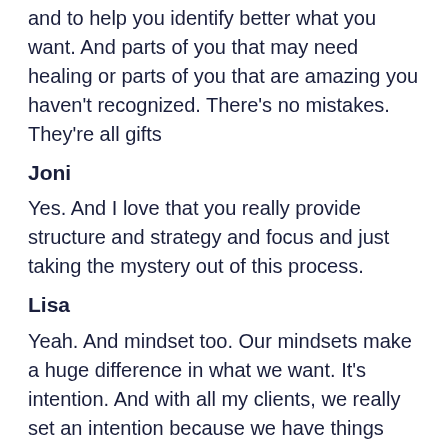and to help you identify better what you want. And parts of you that may need healing or parts of you that are amazing you haven't recognized. There's no mistakes. They're all gifts
Joni
Yes. And I love that you really provide structure and strategy and focus and just taking the mystery out of this process.
Lisa
Yeah. And mindset too. Our mindsets make a huge difference in what we want. It's intention. And with all my clients, we really set an intention because we have things that block us. But that's probably for another podcast. What